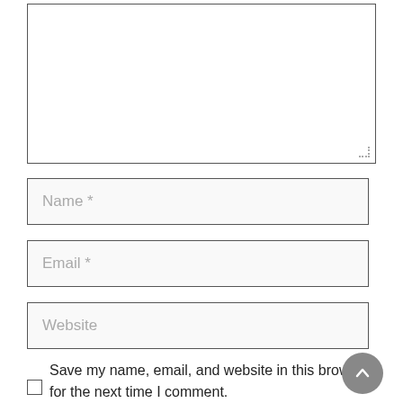[Figure (screenshot): Comment form textarea (empty, resizable)]
Name *
Email *
Website
Save my name, email, and website in this browser for the next time I comment.